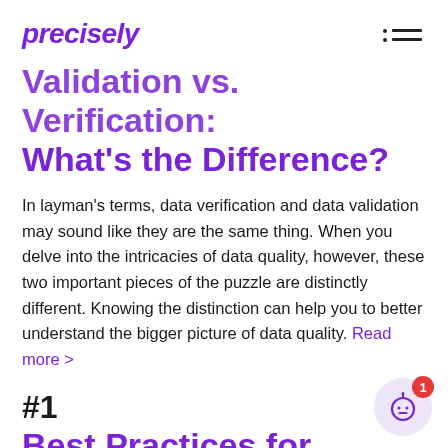precisely
Validation vs. Verification: What's the Difference?
In layman's terms, data verification and data validation may sound like they are the same thing. When you delve into the intricacies of data quality, however, these two important pieces of the puzzle are distinctly different. Knowing the distinction can help you to better understand the bigger picture of data quality. Read more >
#1
Best Practices for